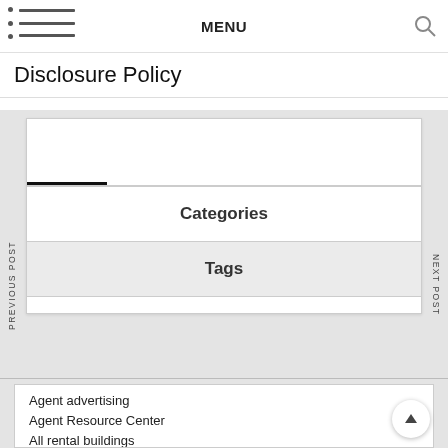MENU
Disclosure Policy
PREVIOUS POST
NEXT POST
Categories
Tags
Agent advertising
Agent Resource Center
All rental buildings
Apartment, Resto, Hotel and House Decorating